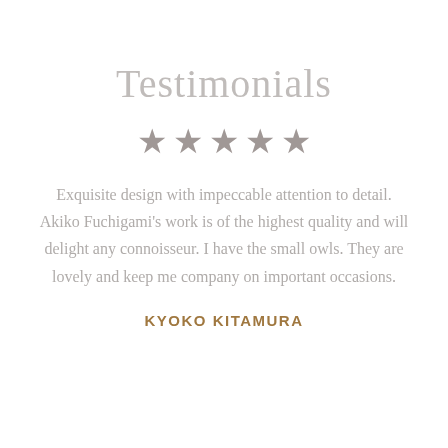Testimonials
[Figure (other): Five filled star icons indicating a 5-star rating]
Exquisite design with impeccable attention to detail. Akiko Fuchigami's work is of the highest quality and will delight any connoisseur. I have the small owls. They are lovely and keep me company on important occasions.
KYOKO KITAMURA